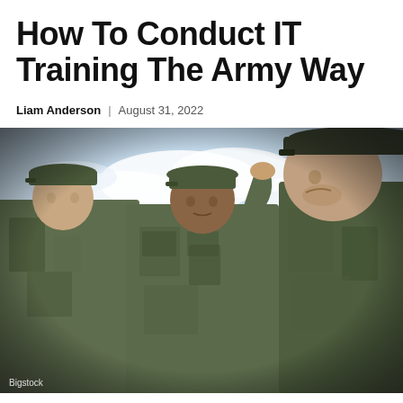How To Conduct IT Training The Army Way
Liam Anderson | August 31, 2022
[Figure (photo): Three soldiers in camouflage uniforms standing outdoors. The central soldier is raising his hand to his cap in a salute gesture. Background shows a green field and cloudy sky.]
Bigstock